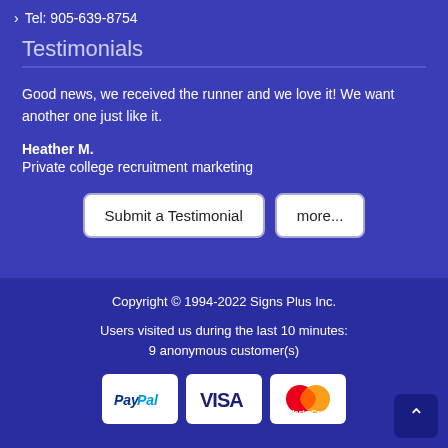› Tel: 905-639-8754
Testimonials
Good news, we received the runner and we love it! We want another one just like it.
Heather M.
Private college recruitment marketing
Submit a Testimonial
more...
Copyright © 1994-2022 Signs Plus Inc.

Users visited us during the last 10 minutes:
9 anonymous customer(s)
[Figure (logo): PayPal payment logo]
[Figure (logo): Visa payment logo]
[Figure (logo): MasterCard payment logo]